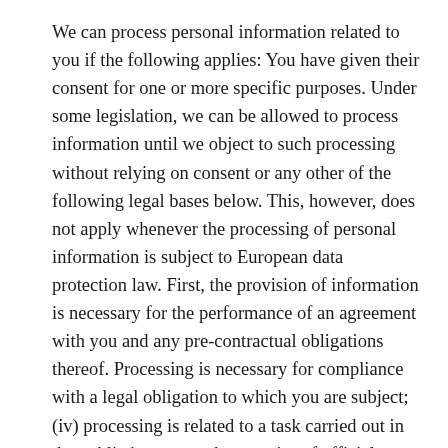We can process personal information related to you if the following applies: You have given their consent for one or more specific purposes. Under some legislation, we can be allowed to process information until we object to such processing without relying on consent or any other of the following legal bases below. This, however, does not apply whenever the processing of personal information is subject to European data protection law. First, the provision of information is necessary for the performance of an agreement with you and any pre-contractual obligations thereof. Processing is necessary for compliance with a legal obligation to which you are subject; (iv) processing is related to a task carried out in the public interest or the exercise of official authority vested in us.
Depending on your location, data transfers can